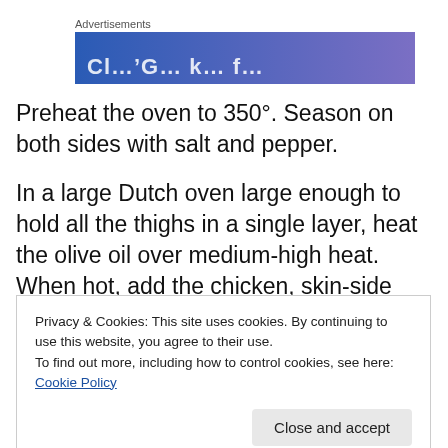[Figure (other): Advertisement banner with blue-to-purple gradient and partial white text visible]
Preheat the oven to 350°. Season on both sides with salt and pepper.
In a large Dutch oven large enough to hold all the thighs in a single layer, heat the olive oil over medium-high heat. When hot, add the chicken, skin-side down, and sear until
Privacy & Cookies: This site uses cookies. By continuing to use this website, you agree to their use.
To find out more, including how to control cookies, see here: Cookie Policy
and the juices have de-glazed the pan. Place the thighs